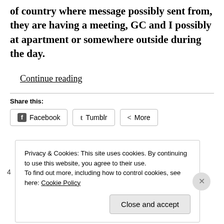of country where message possibly sent from, they are having a meeting, GC and I possibly at apartment or somewhere outside during the day.
Continue reading
Share this:
Facebook  Tumblr  More
Privacy & Cookies: This site uses cookies. By continuing to use this website, you agree to their use. To find out more, including how to control cookies, see here: Cookie Policy
Close and accept